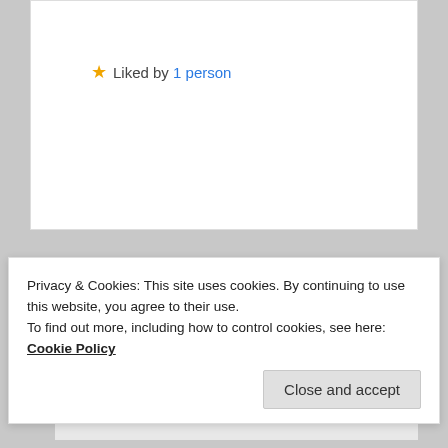Liked by 1 person
limetwiste on April 29, 2020 at 9:26 pm said:
It was Floyd Cardoz. I just 'discovered' him this week. His voice is wonderful and his passion for food is just amazing.
Privacy & Cookies: This site uses cookies. By continuing to use this website, you agree to their use.
To find out more, including how to control cookies, see here: Cookie Policy
Close and accept